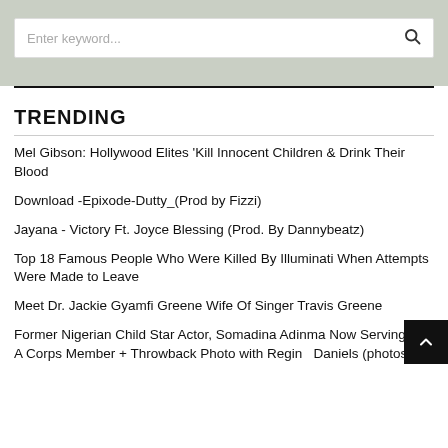[Figure (screenshot): Search bar with placeholder text 'Enter keyword...' and a search icon on the right, on a gray-green background]
TRENDING
Mel Gibson: Hollywood Elites 'Kill Innocent Children & Drink Their Blood
Download -Epixode-Dutty_(Prod by Fizzi)
Jayana - Victory Ft. Joyce Blessing (Prod. By Dannybeatz)
Top 18 Famous People Who Were Killed By Illuminati When Attempts Were Made to Leave
Meet Dr. Jackie Gyamfi Greene Wife Of Singer Travis Greene
Former Nigerian Child Star Actor, Somadina Adinma Now Serving As A Corps Member + Throwback Photo with Regina Daniels (photos)